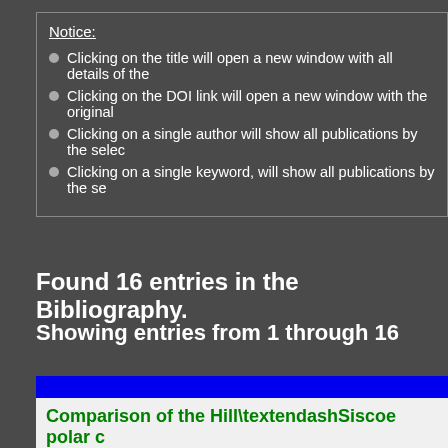Notice:
Clicking on the title will open a new window with all details of the
Clicking on the DOI link will open a new window with the original
Clicking on a single author will show all publications by the sele
Clicking on a single keyword, will show all publications by the se
Found 16 entries in the Bibliography.
Showing entries from 1 through 16
Comparison of the Hill\textendashSiscoe polar c
Kelley, Michael; Crowley, Geoffrey; Weimer, Daniel;
Published in: Journal of Atmospheric and Solar-Terrestrial Ph